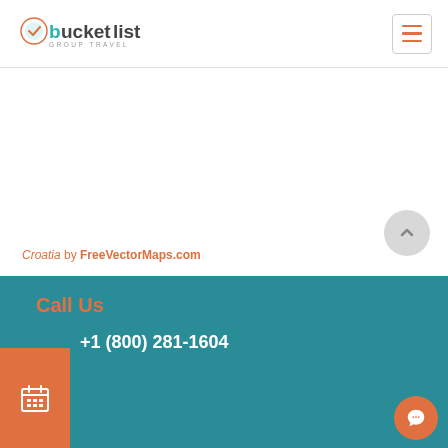bucketlist GROUP TRAVEL
Croatia by FreeVectorMaps.com
[Figure (logo): Bucketlist Group Travel logo with teal and orange text and a checkmark badge icon]
Call Us
+1 (800) 281-1604